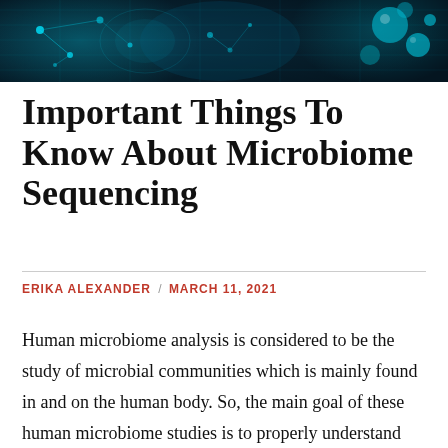[Figure (photo): Blue-toned digital/scientific banner image showing microscopic or molecular network structures with glowing cyan nodes and connections, likely representing microbiome or biotechnology concept.]
Important Things To Know About Microbiome Sequencing
ERIKA ALEXANDER / MARCH 11, 2021
Human microbiome analysis is considered to be the study of microbial communities which is mainly found in and on the human body. So, the main goal of these human microbiome studies is to properly understand the role of microbes in disease and health.